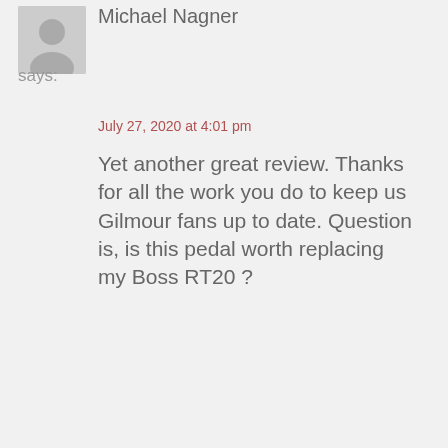[Figure (illustration): Grey avatar placeholder image for Michael Nagner]
Michael Nagner
says:
July 27, 2020 at 4:01 pm
Yet another great review. Thanks for all the work you do to keep us Gilmour fans up to date. Question is, is this pedal worth replacing my Boss RT20 ?
Reply
[Figure (illustration): Grey avatar placeholder image for Bjorn]
Bjorn
says:
July 28, 2020 at 11:01